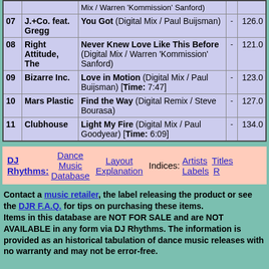| # | Artist | Title |  | BPM |
| --- | --- | --- | --- | --- |
|  |  | Mix / Warren 'Kommission' Sanford) |  |  |
| 07 | J.+Co. feat. Gregg | You Got (Digital Mix / Paul Buijsman) | - | 126.0 |
| 08 | Right Attitude, The | Never Knew Love Like This Before (Digital Mix / Warren 'Kommission' Sanford) | - | 121.0 |
| 09 | Bizarre Inc. | Love in Motion (Digital Mix / Paul Buijsman) [Time: 7:47] | - | 123.0 |
| 10 | Mars Plastic | Find the Way (Digital Remix / Steve Bourasa) | - | 127.0 |
| 11 | Clubhouse | Light My Fire (Digital Mix / Paul Goodyear) [Time: 6:09] | - | 134.0 |
DJ Rhythms: Dance Music Database  Layout Explanation  Indices: Artists  Titles  Labels
Contact a music retailer, the label releasing the product or see the DJR F.A.Q. for tips on purchasing these items. Items in this database are NOT FOR SALE and are NOT AVAILABLE in any form via DJ Rhythms. The information is provided as an historical tabulation of dance music releases with no warranty and may not be error-free.